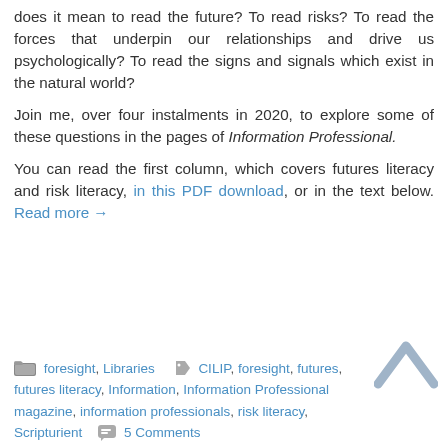does it mean to read the future? To read risks? To read the forces that underpin our relationships and drive us psychologically? To read the signs and signals which exist in the natural world?
Join me, over four instalments in 2020, to explore some of these questions in the pages of Information Professional.
You can read the first column, which covers futures literacy and risk literacy, in this PDF download, or in the text below. Read more →
foresight, Libraries   CILIP, foresight, futures, futures literacy, Information, Information Professional magazine, information professionals, risk literacy, Scripturient   5 Comments